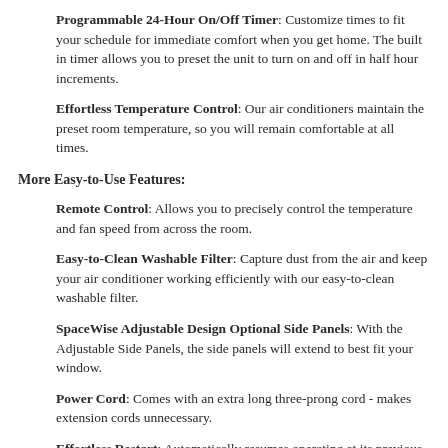Programmable 24-Hour On/Off Timer: Customize times to fit your schedule for immediate comfort when you get home. The built in timer allows you to preset the unit to turn on and off in half hour increments.
Effortless Temperature Control: Our air conditioners maintain the preset room temperature, so you will remain comfortable at all times.
More Easy-to-Use Features:
Remote Control: Allows you to precisely control the temperature and fan speed from across the room.
Easy-to-Clean Washable Filter: Capture dust from the air and keep your air conditioner working efficiently with our easy-to-clean washable filter.
SpaceWise Adjustable Design Optional Side Panels: With the Adjustable Side Panels, the side panels will extend to best fit your window.
Power Cord: Comes with an extra long three-prong cord - makes extension cords unnecessary.
Effortless Restart: Automatically resumes operating at its previous...